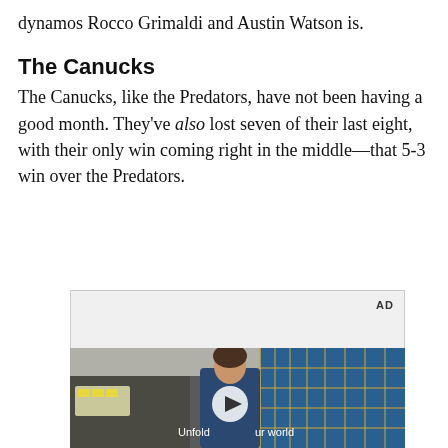dynamos Rocco Grimaldi and Austin Watson is.
The Canucks
The Canucks, like the Predators, have not been having a good month. They've also lost seven of their last eight, with their only win coming right in the middle—that 5-3 win over the Predators.
[Figure (other): Video advertisement player showing a young man standing in a store with blue tile walls. Text reads 'Unfold your world' with a play button overlay. AD label in top right.]